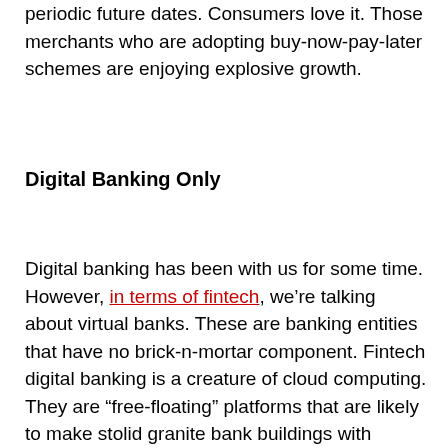periodic future dates. Consumers love it. Those merchants who are adopting buy-now-pay-later schemes are enjoying explosive growth.
Digital Banking Only
Digital banking has been with us for some time. However, in terms of fintech, we're talking about virtual banks. These are banking entities that have no brick-n-mortar component. Fintech digital banking is a creature of cloud computing. They are “free-floating” platforms that are likely to make stolid granite bank buildings with marbles floors and gigantic stainless-steel vaults a relic